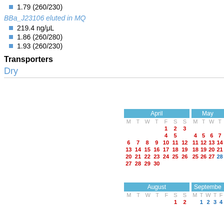1.79 (260/230)
BBa_J23106 eluted in MQ
219.4 ng/μL
1.86 (260/280)
1.93 (260/230)
Transporters
Dry
[Figure (other): April and May calendar grids with red date numbers and blue day headers, showing April 1-30 and partial May 1, 4-15, 18-22, 25-29]
[Figure (other): August and September calendar grids, showing August 1-2 and September 1-4]